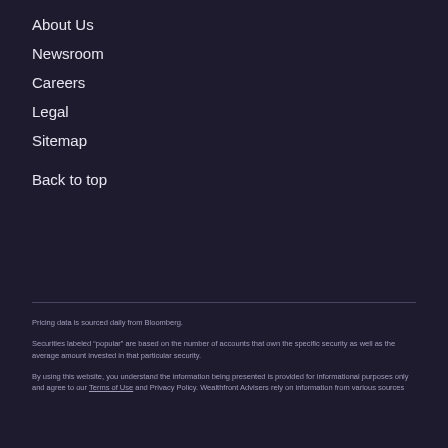About Us
Newsroom
Careers
Legal
Sitemap
Back to top
Pricing data is sourced daily from Bloomberg.
Securities labeled “popular” are based on the number of accounts that own the specific security as well as the average amount invested in that particular security.
By using this website, you understand the information being presented is provided for informational purposes only and agree to our Terms of Use and Privacy Policy. Wealthfront Advisers rely on information from various sources